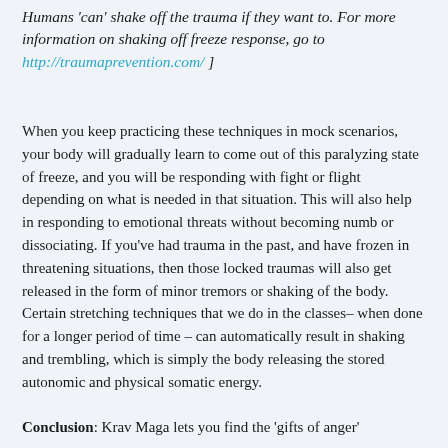Humans 'can' shake off the trauma if they want to. For more information on shaking off freeze response, go to http://traumaprevention.com/ ]
When you keep practicing these techniques in mock scenarios, your body will gradually learn to come out of this paralyzing state of freeze, and you will be responding with fight or flight depending on what is needed in that situation. This will also help in responding to emotional threats without becoming numb or dissociating. If you've had trauma in the past, and have frozen in threatening situations, then those locked traumas will also get released in the form of minor tremors or shaking of the body. Certain stretching techniques that we do in the classes– when done for a longer period of time – can automatically result in shaking and trembling, which is simply the body releasing the stored autonomic and physical somatic energy.
Conclusion: Krav Maga lets you find the 'gifts of anger'